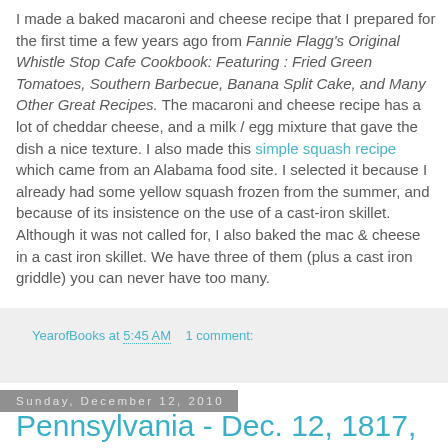I made a baked macaroni and cheese recipe that I prepared for the first time a few years ago from Fannie Flagg's Original Whistle Stop Cafe Cookbook: Featuring : Fried Green Tomatoes, Southern Barbecue, Banana Split Cake, and Many Other Great Recipes. The macaroni and cheese recipe has a lot of cheddar cheese, and a milk / egg mixture that gave the dish a nice texture. I also made this simple squash recipe which came from an Alabama food site. I selected it because I already had some yellow squash frozen from the summer, and because of its insistence on the use of a cast-iron skillet. Although it was not called for, I also baked the mac & cheese in a cast iron skillet. We have three of them (plus a cast iron griddle) you can never have too many.
YearofBooks at 5:45 AM   1 comment:
Sunday, December 12, 2010
Pennsylvania - Dec. 12, 1817, no, I mean 1787